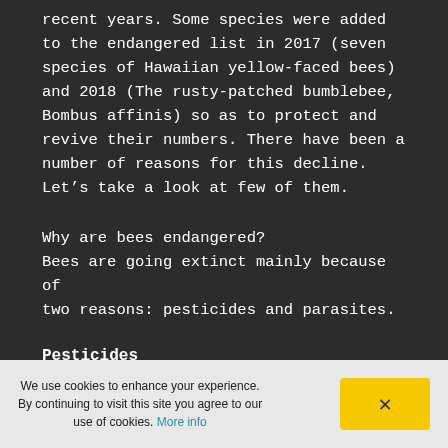recent years. Some species were added to the endangered list in 2017 (seven species of Hawaiian yellow-faced bees) and 2018 (The rusty-patched bumblebee, Bombus affinis) so as to protect and revive their numbers. There have been a number of reasons for this decline. Let’s take a look at few of them.
Why are bees endangered?
Bees are going extinct mainly because of two reasons: pesticides and parasites.
Pesticides
We use cookies to enhance your experience. By continuing to visit this site you agree to our use of cookies. More info